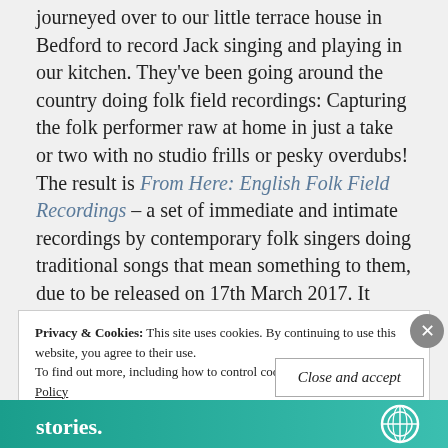A few months back Pile & Tann from Stick in the Wheel journeyed over to our little terrace house in Bedford to record Jack singing and playing in our kitchen. They've been going around the country doing folk field recordings: Capturing the folk performer raw at home in just a take or two with no studio frills or pesky overdubs! The result is From Here: English Folk Field Recordings – a set of immediate and intimate recordings by contemporary folk singers doing traditional songs that mean something to them, due to be released on 17th March 2017. It features folk establishment figures like Jon Boden, Lisa Knapp, Martin and Eliza Carthy, and one of our very own- Mr Jack Sharp singing Bedfordshire May Carol (track 1!). Well done
Privacy & Cookies: This site uses cookies. By continuing to use this website, you agree to their use. To find out more, including how to control cookies, see here: Cookie Policy
Close and accept
[Figure (illustration): Bottom banner with teal/green gradient background, white bold text 'stories.' on left, and a circular logo on the right.]